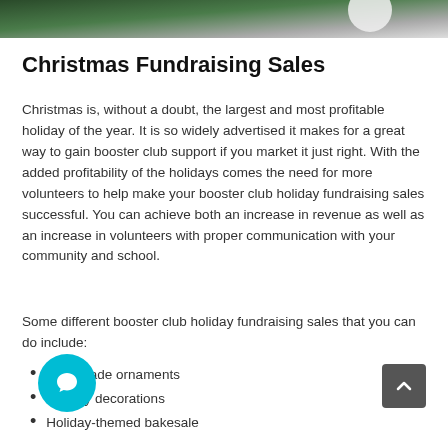[Figure (photo): Photo of Christmas decorations with greenery and a white ornament or light at top of page]
Christmas Fundraising Sales
Christmas is, without a doubt, the largest and most profitable holiday of the year. It is so widely advertised it makes for a great way to gain booster club support if you market it just right. With the added profitability of the holidays comes the need for more volunteers to help make your booster club holiday fundraising sales successful. You can achieve both an increase in revenue as well as an increase in volunteers with proper communication with your community and school.
Some different booster club holiday fundraising sales that you can do include:
Handmade ornaments
Holiday decorations
Holiday-themed bakesale
X-mas tree sales
Holiday gift-wrapping
Handmade ornaments can be made easily and could be made in a way that includes the school spirit. Selling clear ornaments filled